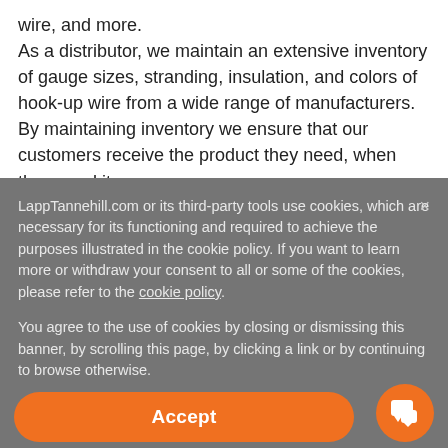wire, and more.

As a distributor, we maintain an extensive inventory of gauge sizes, stranding, insulation, and colors of hook-up wire from a wide range of manufacturers. By maintaining inventory we ensure that our customers receive the product they need, when they need it.
LappTannehill.com or its third-party tools use cookies, which are necessary for its functioning and required to achieve the purposes illustrated in the cookie policy. If you want to learn more or withdraw your consent to all or some of the cookies, please refer to the cookie policy.

You agree to the use of cookies by closing or dismissing this banner, by scrolling this page, by clicking a link or by continuing to browse otherwise.